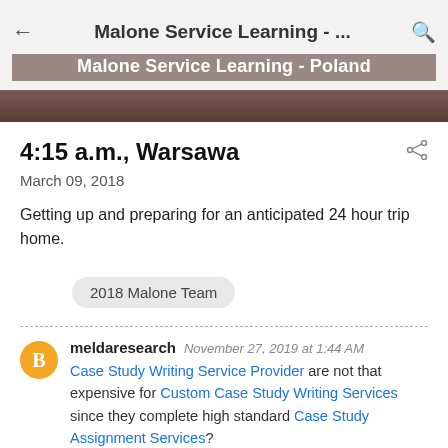Malone Service Learning - ... | Malone Service Learning - Poland
[Figure (photo): Dark brownish-maroon banner image at the top of the blog page]
4:15 a.m., Warsawa
March 09, 2018
Getting up and preparing for an anticipated 24 hour trip home.
2018 Malone Team
meldaresearch  November 27, 2019 at 1:44 AM
Case Study Writing Service Provider are not that expensive for Custom Case Study Writing Services since they complete high standard Case Study Assignment Services?